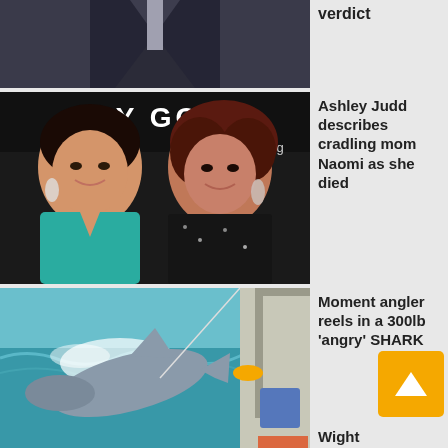[Figure (photo): Cropped photo of a person in a dark suit, partial view, top of the page]
verdict
[Figure (photo): Ashley Judd and Naomi Judd smiling together at an event in front of a backdrop reading 'EY GOO' and 'Tasting']
Ashley Judd describes cradling mom Naomi as she died
[Figure (photo): A large shark being reeled in near a boat on turquoise water, with fishing equipment visible]
Moment angler reels in a 300lb 'angry' SHARK ... Wight